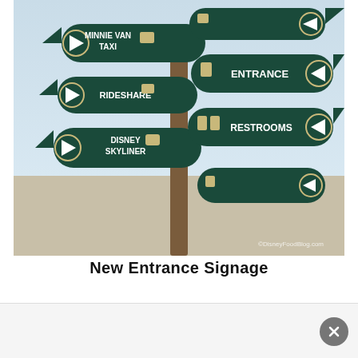[Figure (photo): Photograph of a multi-directional signpost at a Disney theme park entrance. Dark green signs with white text and arrows point to: Minnie Van Taxi, Rideshare, Disney Skyliner (left-pointing arrows), and Entrance, Restrooms (right-pointing arrows on the right side). A watermark reads '©DisneyFoodBlog.com' at the bottom right of the image.]
New Entrance Signage